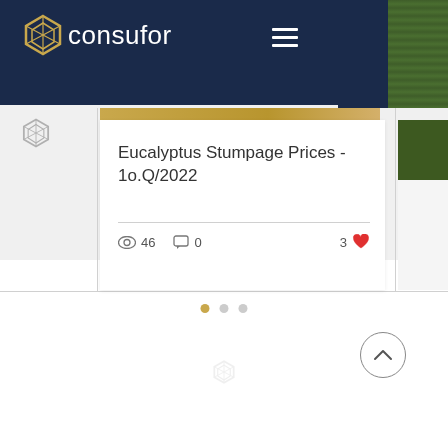consufor
Eucalyptus Stumpage Prices - 1o.Q/2022
46 views · 0 comments · 3 likes